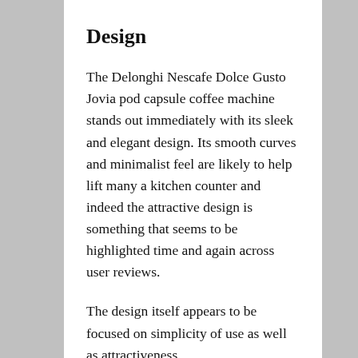Design
The Delonghi Nescafe Dolce Gusto Jovia pod capsule coffee machine stands out immediately with its sleek and elegant design. Its smooth curves and minimalist feel are likely to help lift many a kitchen counter and indeed the attractive design is something that seems to be highlighted time and again across user reviews.
The design itself appears to be focused on simplicity of use as well as attractiveness.
In terms of the construction, the material